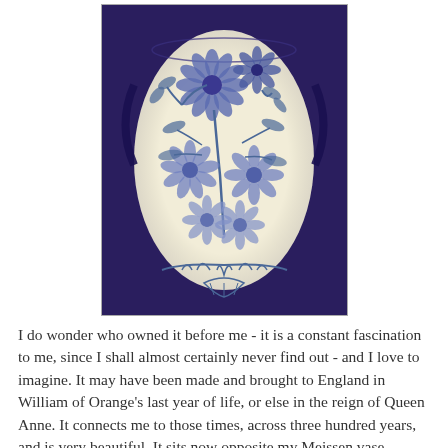[Figure (photo): Close-up photograph of a blue and white ceramic vase with floral decoration — chrysanthemum-like flowers and leafy stems painted in cobalt blue on a cream/white background, in the Delftware or Chinese export porcelain style.]
I do wonder who owned it before me - it is a constant fascination to me, since I shall almost certainly never find out - and I love to imagine. It may have been made and brought to England in William of Orange's last year of life, or else in the reign of Queen Anne. It connects me to those times, across three hundred years, and is very beautiful. It sits now opposite my Meissen vase, behind a studio glass scent